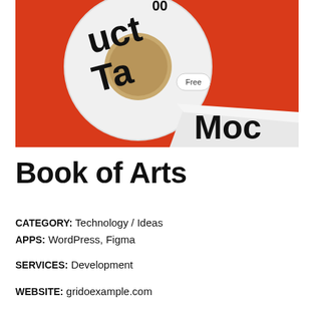[Figure (photo): A roll of white duct tape with bold black text reading 'Duct Tape Mock' on a red/orange background, partially unrolled with a small 'Free' label visible]
Book of Arts
CATEGORY: Technology / Ideas
APPS: WordPress, Figma
SERVICES: Development
WEBSITE: gridoexample.com